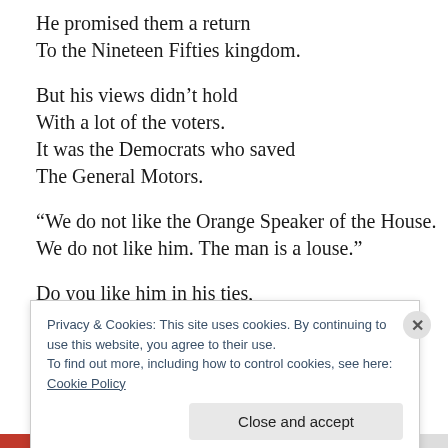He promised them a return
To the Nineteen Fifties kingdom.
But his views didn't hold
With a lot of the voters.
It was the Democrats who saved
The General Motors.
“We do not like the Orange Speaker of the House.
We do not like him. The man is a louse.”
Do you like him in his ties,
Privacy & Cookies: This site uses cookies. By continuing to use this website, you agree to their use.
To find out more, including how to control cookies, see here: Cookie Policy
Close and accept